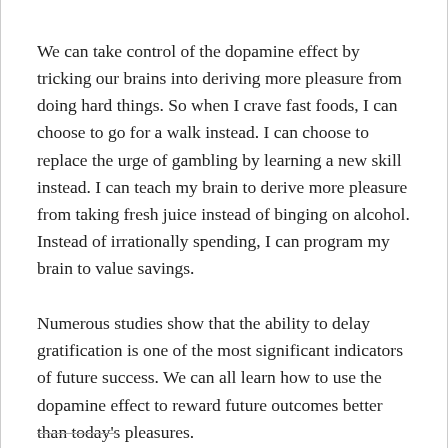We can take control of the dopamine effect by tricking our brains into deriving more pleasure from doing hard things. So when I crave fast foods, I can choose to go for a walk instead. I can choose to replace the urge of gambling by learning a new skill instead. I can teach my brain to derive more pleasure from taking fresh juice instead of binging on alcohol. Instead of irrationally spending, I can program my brain to value savings.
Numerous studies show that the ability to delay gratification is one of the most significant indicators of future success. We can all learn how to use the dopamine effect to reward future outcomes better than today's pleasures.